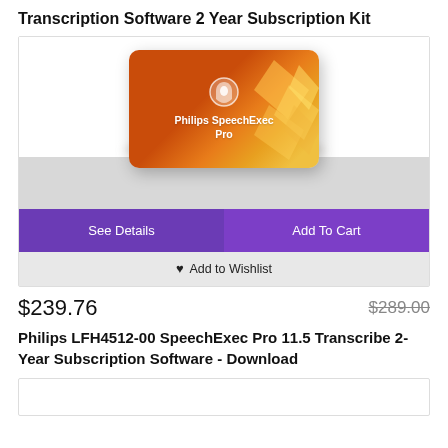Transcription Software 2 Year Subscription Kit
[Figure (screenshot): Philips SpeechExec Pro software product card with orange/gold gradient card image, 'See Details' and 'Add To Cart' purple buttons, and 'Add to Wishlist' link]
$239.76
$289.00
Philips LFH4512-00 SpeechExec Pro 11.5 Transcribe 2-Year Subscription Software - Download